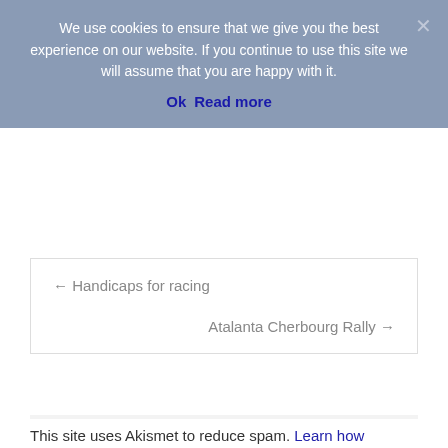We use cookies to ensure that we give you the best experience on our website. If you continue to use this site we will assume that you are happy with it.
Ok   Read more
← Handicaps for racing
Atalanta Cherbourg Rally →
Leave a Reply
You must be logged in to post a comment.
This site uses Akismet to reduce spam. Learn how